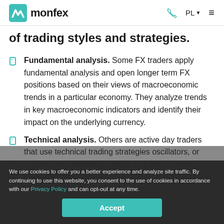monfex | PL
of trading styles and strategies.
Fundamental analysis. Some FX traders apply fundamental analysis and open longer term FX positions based on their views of macroeconomic trends in a particular economy. They analyze trends in key macroeconomic indicators and identify their impact on the underlying currency.
Technical analysis. Others are active day traders that use technical trading strategies oscillators, or support and resistance levels) and whose trading styles are often